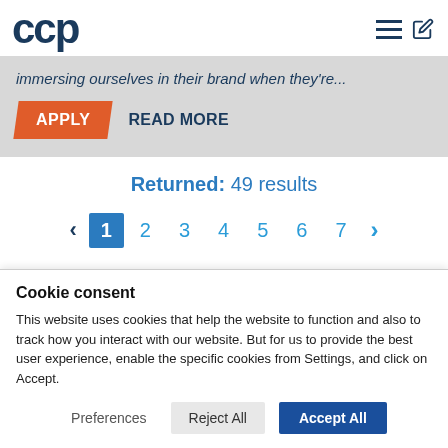ccp
immersing ourselves in their brand when they're...
APPLY   READ MORE
Returned: 49 results
< 1 2 3 4 5 6 7 >
Cookie consent
This website uses cookies that help the website to function and also to track how you interact with our website. But for us to provide the best user experience, enable the specific cookies from Settings, and click on Accept.
Preferences   Reject All   Accept All